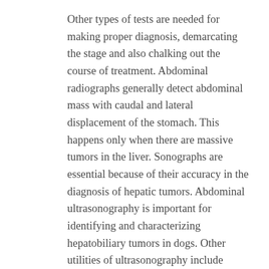Other types of tests are needed for making proper diagnosis, demarcating the stage and also chalking out the course of treatment. Abdominal radiographs generally detect abdominal mass with caudal and lateral displacement of the stomach. This happens only when there are massive tumors in the liver. Sonographs are essential because of their accuracy in the diagnosis of hepatic tumors. Abdominal ultrasonography is important for identifying and characterizing hepatobiliary tumors in dogs. Other utilities of ultrasonography include defining the tumor as nodular, diffuse or massive. The size and location of the tumor, and its relation with the adjoining anatomic structures like the gall bladder and caudal vena cava (returns deoxygenated blood to the heart) can be established through this. For determining tumor